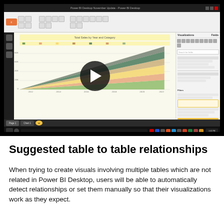[Figure (screenshot): Screenshot of Power BI Desktop application showing an area chart titled 'Total Sales by Year and Category' with multiple colored area layers (green, yellow, orange, pink, dark). A play button overlay is visible in the center of the chart. The interface shows the ribbon toolbar, visualizations panel, and fields panel on the right side.]
Suggested table to table relationships
When trying to create visuals involving multiple tables which are not related in Power BI Desktop, users will be able to automatically detect relationships or set them manually so that their visualizations work as they expect.